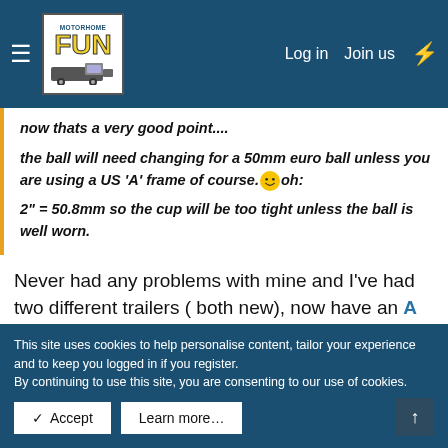Motorhome Fun — Log in | Join us
now thats a very good point....
the ball will need changing for a 50mm euro ball unless you are using a US 'A' frame of course. 😊 oh:
2" = 50.8mm so the cup will be too tight unless the ball is well worn.
Never had any problems with mine and I've had two different trailers ( both new), now have an A frame.. I don't think the hitch and ball are manufactured to such tight tolerances..
This site uses cookies to help personalise content, tailor your experience and to keep you logged in if you register. By continuing to use this site, you are consenting to our use of cookies.